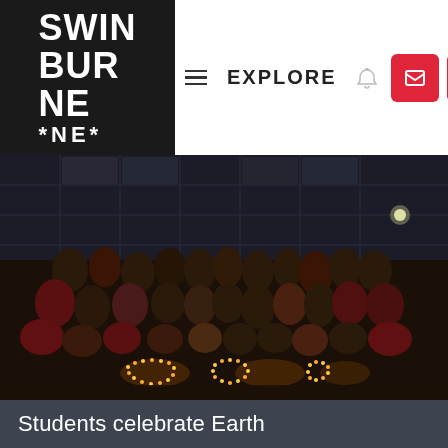[Figure (logo): Swinburne University logo — white text on black background reading SWIN BUR NE with asterisks]
EXPLORE
[Figure (photo): Group photo of students at night celebrating Earth Hour, arranged in front of a building with candles arranged on the ground spelling '60+' or similar Earth Hour symbol]
Students celebrate Earth